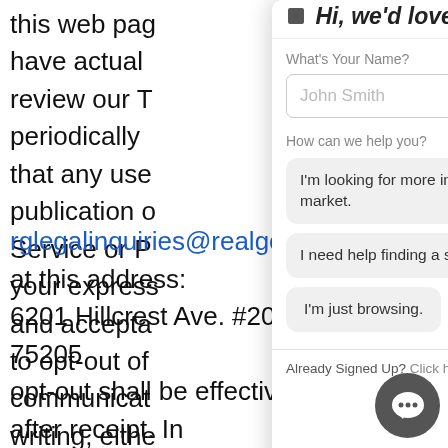this web page... have actual... review our T... periodically... that any use... publication o... Service or P... your express... and accepta... to opt-out of... communicat... writing, either...
[Figure (screenshot): Live chat popup widget overlay showing: title 'Hi, we'd love to chat!', a name input field with placeholder 'John Smith', a help topic selector with three options: 'I'm looking for more info on the real estate market.', 'I need help finding a specific type of home.', 'I'm just browsing.', and a footer 'Already Signed Up? Click here to login.']
rglegalinquiries@realgeeks.com or at this address: 6201 Hillcrest Ave. #200, Dallas, TX 75205... opt-out shall be effective 10 days after receipt. In